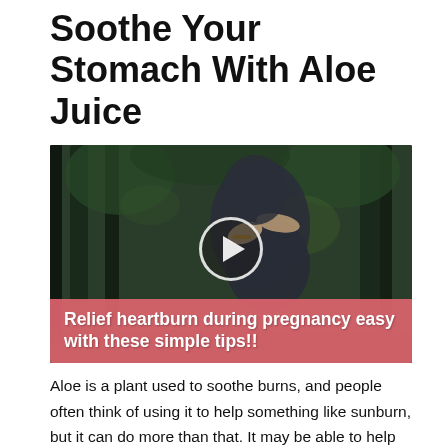Soothe Your Stomach With Aloe Juice
[Figure (photo): Video thumbnail showing a pregnant woman in a dark dress in a forest setting, with a play button overlay and a pink caption bar reading 'Relief heartburn during pregnancy easy with these simple tips!!']
Aloe is a plant used to soothe burns, and people often think of using it to help something like sunburn, but it can do more than that. It may be able to help with heartburn too because it reduces inflammation. This means when your tummy starts getting irritated and inflamed, or your esophagus is